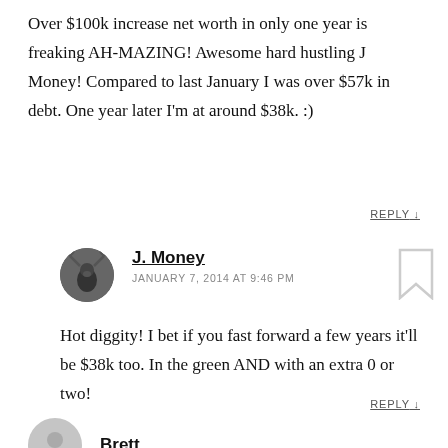Over $100k increase net worth in only one year is freaking AH-MAZING! Awesome hard hustling J Money! Compared to last January I was over $57k in debt. One year later I'm at around $38k. :)
REPLY ↓
J. Money
JANUARY 7, 2014 AT 9:46 PM
Hot diggity! I bet if you fast forward a few years it'll be $38k too. In the green AND with an extra 0 or two!
REPLY ↓
Brett